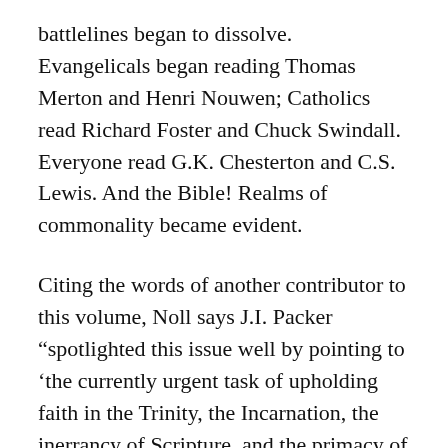battlelines began to dissolve. Evangelicals began reading Thomas Merton and Henri Nouwen; Catholics read Richard Foster and Chuck Swindall. Everyone read G.K. Chesterton and C.S. Lewis. And the Bible! Realms of commonality became evident.
Citing the words of another contributor to this volume, Noll says J.I. Packer “spotlighted this issue well by pointing to ‘the currently urgent task of upholding faith in the Trinity, the Incarnation, the inerrancy of Scripture, and the primacy of the evangelistic and pastoral imperative according to Scripture, against the secularist, relativist and antinomian onslaught to which these thing are being subjected in our